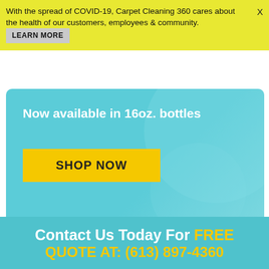With the spread of COVID-19, Carpet Cleaning 360 cares about the health of our customers, employees & community. LEARN MORE
Now available in 16oz. bottles
SHOP NOW
Carpet Cleaning 360 provides professional cleaning services to residents and businesses in the community of Ottawa, ON and its surrounding areas!
Contact Us Today For FREE QUOTE AT: (613) 897-4360